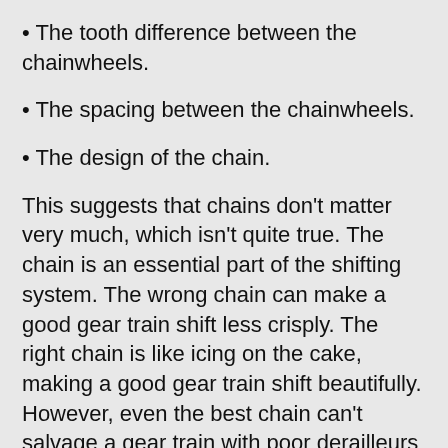• The tooth difference between the chainwheels.
• The spacing between the chainwheels.
• The design of the chain.
This suggests that chains don't matter very much, which isn't quite true. The chain is an essential part of the shifting system. The wrong chain can make a good gear train shift less crisply. The right chain is like icing on the cake, making a good gear train shift beautifully. However, even the best chain can't salvage a gear train with poor derailleurs and freewheels. Incidentally, good chains